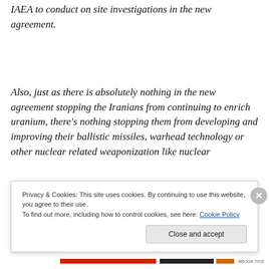IAEA to conduct on site investigations in the new agreement.
Also, just as there is absolutely nothing in the new agreement stopping the Iranians from continuing to enrich uranium, there's nothing stopping them from developing and improving their ballistic missiles, warhead technology or other nuclear related weaponization like nuclear
Privacy & Cookies: This site uses cookies. By continuing to use this website, you agree to their use.
To find out more, including how to control cookies, see here: Cookie Policy
Close and accept